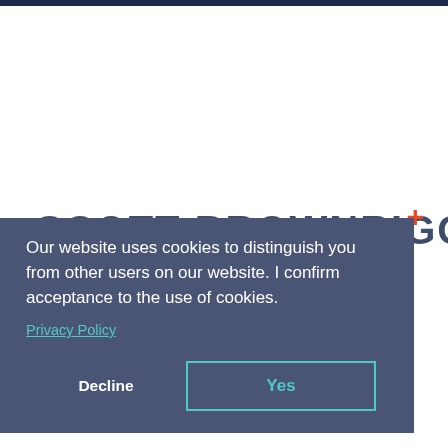[Figure (logo): Scott Brownrigg logo with company name in large dark blue uppercase letters and an orange plus sign]
Our website uses cookies to distinguish you from other users on our website. I confirm acceptance to the use of cookies.
Privacy Policy
Decline
Yes